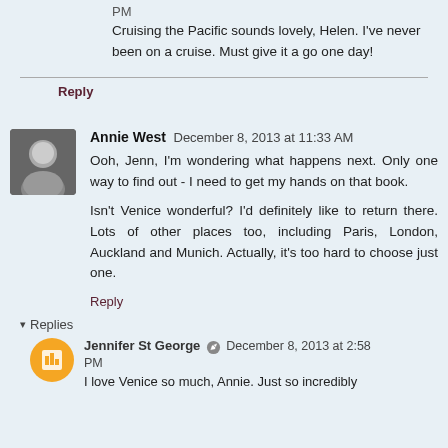PM
Cruising the Pacific sounds lovely, Helen. I've never been on a cruise. Must give it a go one day!
Reply
Annie West  December 8, 2013 at 11:33 AM
Ooh, Jenn, I'm wondering what happens next. Only one way to find out - I need to get my hands on that book.
Isn't Venice wonderful? I'd definitely like to return there. Lots of other places too, including Paris, London, Auckland and Munich. Actually, it's too hard to choose just one.
Reply
Replies
Jennifer St George  December 8, 2013 at 2:58 PM
I love Venice so much, Annie. Just so incredibly